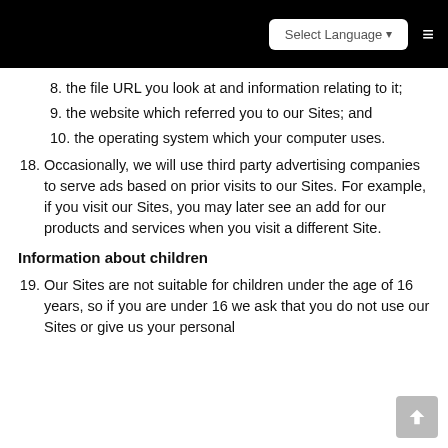Select Language
8. the file URL you look at and information relating to it;
9. the website which referred you to our Sites; and
10. the operating system which your computer uses.
18. Occasionally, we will use third party advertising companies to serve ads based on prior visits to our Sites. For example, if you visit our Sites, you may later see an add for our products and services when you visit a different Site.
Information about children
19. Our Sites are not suitable for children under the age of 16 years, so if you are under 16 we ask that you do not use our Sites or give us your personal